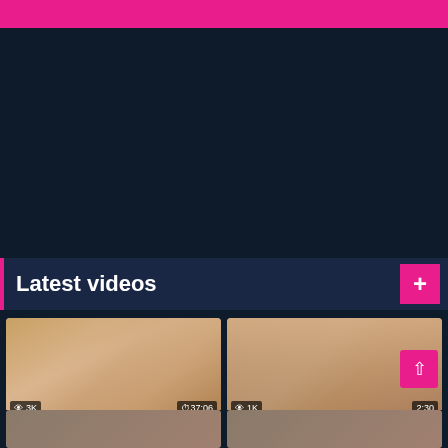[Figure (screenshot): Pink banner at top of adult video website]
Latest videos
[Figure (screenshot): Video thumbnail: Youjizz Busty Mom Satisfies Son'... — 3K views, 37:06 duration, 100% likes]
Youjizz Busty Mom Satisfies Son'...
[Figure (screenshot): Video thumbnail: Ujizz Brunette Gets Sex From He... — 1K views, 2:30 duration, 75% likes]
Ujizz Brunette Gets Sex From He...